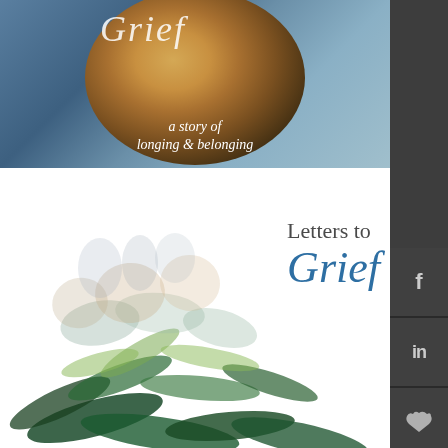[Figure (illustration): Top book cover with circular porthole/lens design, teal/blue background, script title text partially visible, subtitle reads 'a story of longing & belonging']
[Figure (illustration): Lower book cover 'Letters to Grief' featuring watercolor botanical/floral illustration with green and earth-toned leaves and flowers on white background, title text 'Letters to Grief' in serif and italic teal font]
[Figure (infographic): Dark gray sidebar on right side with social media icons: Facebook (f), LinkedIn (in), Twitter bird, Google+ (g+), Pinterest (P)]